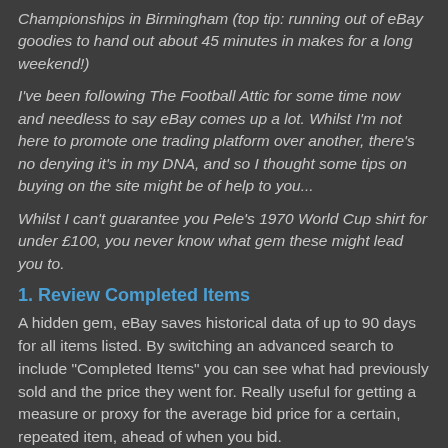Championships in Birmingham (top tip: running out of eBay goodies to hand out about 45 minutes in makes for a long weekend!)
I've been following The Football Attic for some time now and needless to say eBay comes up a lot. Whilst I'm not here to promote one trading platform over another, there's no denying it's in my DNA, and so I thought some tips on buying on the site might be of help to you...
Whilst I can't guarantee you Pele's 1970 World Cup shirt for under £100, you never know what gem these might lead you to.
1. Review Completed Items
A hidden gem, eBay saves historical data of up to 90 days for all items listed. By switching an advanced search to include "Completed Items" you can see what had previously sold and the price they went for. Really useful for getting a measure or proxy for the average bid price for a certain, repeated item, ahead of when you bid.